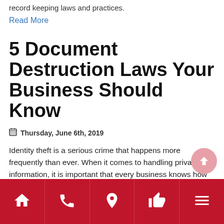record keeping laws and practices.
Read More
5 Document Destruction Laws Your Business Should Know
Thursday, June 6th, 2019
Identity theft is a serious crime that happens more frequently than ever. When it comes to handling private information, it is important that every business knows how to properly dispose of it. In fact, the government has several laws in place to help make sure private information doesn't fall into the wrong hands. But just what are these laws? Here's a quick guide to some of the most important ones.